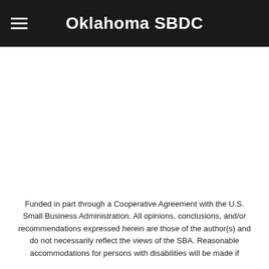Oklahoma SBDC
Funded in part through a Cooperative Agreement with the U.S. Small Business Administration. All opinions, conclusions, and/or recommendations expressed herein are those of the author(s) and do not necessarily reflect the views of the SBA. Reasonable accommodations for persons with disabilities will be made if